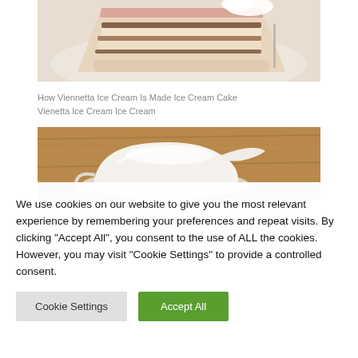[Figure (photo): A slice of layered ice cream cake on a white plate, showing alternating cream and chocolate layers, viewed from above at an angle.]
How Viennetta Ice Cream Is Made Ice Cream Cake Vienetta Ice Cream Ice Cream
[Figure (photo): A white ceramic gravy boat or creamer on a wooden table surface, with milk or cream inside.]
We use cookies on our website to give you the most relevant experience by remembering your preferences and repeat visits. By clicking "Accept All", you consent to the use of ALL the cookies. However, you may visit "Cookie Settings" to provide a controlled consent.